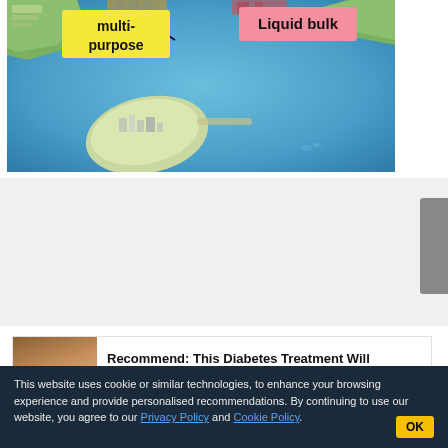[Figure (illustration): Aerial satellite-style rendering of a port/harbor development with labeled zones: a yellow callout labeled 'multi-purpose' on the left side and a pink/salmon callout labeled 'Liquid bulk' on the right side. Shows an island, waterways, and port infrastructure.]
Recommend: This Diabetes Treatment Will Surprise You (Watch)
AD Healthier Living
This website uses cookie or similar technologies, to enhance your browsing experience and provide personalised recommendations. By continuing to use our website, you agree to our Privacy Policy and Cookie Policy.
OK